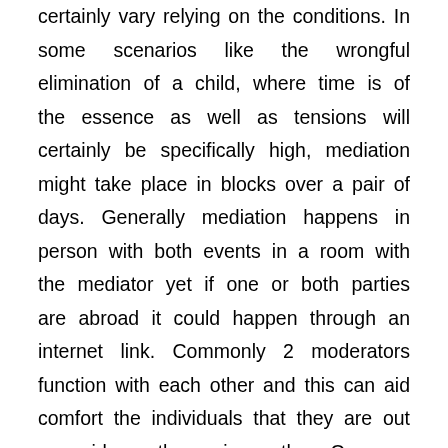certainly vary relying on the conditions. In some scenarios like the wrongful elimination of a child, where time is of the essence as well as tensions will certainly be specifically high, mediation might take place in blocks over a pair of days. Generally mediation happens in person with both events in a room with the mediator yet if one or both parties are abroad it could happen through an internet link. Commonly 2 moderators function with each other and this can aid comfort the individuals that they are out one side or the various other. Once an agreement is reached an authorization order can be drawn up which will be stamped by the court and after that